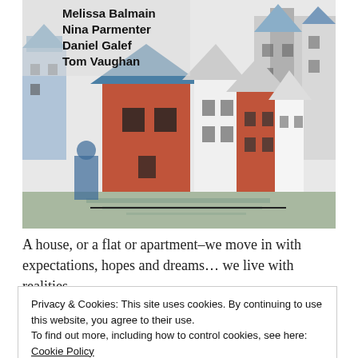[Figure (illustration): Illustrated book cover art showing rows of colorful houses and buildings in a European town style, rendered in a linocut/woodblock print style with orange-red, blue, white, and black colors. Authors listed on the cover: Melissa Balmain, Nina Parmenter, Daniel Galef, Tom Vaughan.]
A house, or a flat or apartment–we move in with expectations, hopes and dreams… we live with realities,
Privacy & Cookies: This site uses cookies. By continuing to use this website, you agree to their use.
To find out more, including how to control cookies, see here: Cookie Policy
Close and accept
BHL Home      Home      Frontpage      World+birds